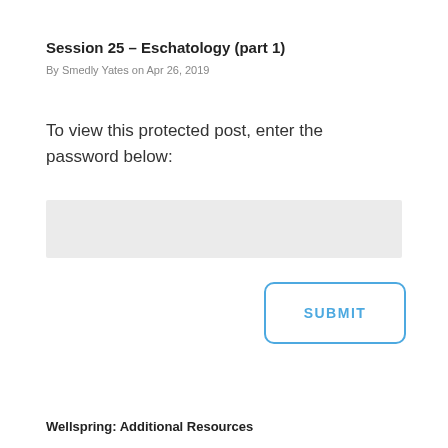Session 25 – Eschatology (part 1)
By Smedly Yates on Apr 26, 2019
To view this protected post, enter the password below:
SUBMIT
Wellspring: Additional Resources